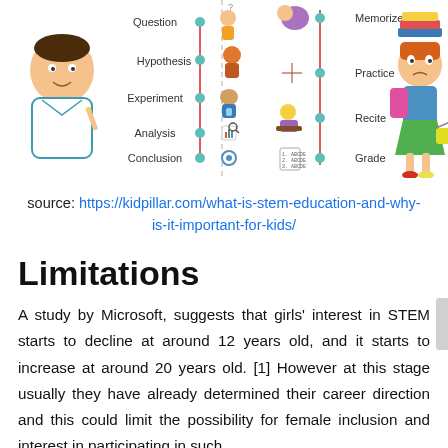[Figure (infographic): Two-panel infographic comparing the Scientific Method (Question, Hypothesis, Experiment, Analysis, Conclusion with cartoon scientist figures) and traditional study/homework approach (Memorize, Practice, Recite, Grade with cartoon student figures)]
source: https://kidpillar.com/what-is-stem-education-and-why-is-it-important-for-kids/
Limitations
A study by Microsoft, suggests that girls' interest in STEM starts to decline at around 12 years old, and it starts to increase at around 20 years old. [1] However at this stage usually they have already determined their career direction and this could limit the possibility for female inclusion and interest in participating in such